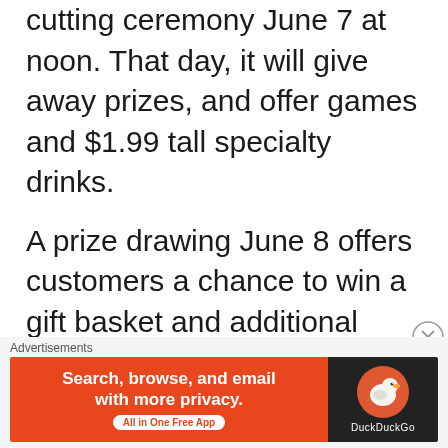cutting ceremony June 7 at noon. That day, it will give away prizes, and offer games and $1.99 tall specialty drinks.
A prize drawing June 8 offers customers a chance to win a gift basket and additional prizes. The drawing does not require a purchase.
Coffee Beanery was founded in 1976 and has 75 global locations.
Coffee Beanery, 52857 Schoenherr, Shelby
Advertisements
[Figure (infographic): DuckDuckGo advertisement banner: orange background on left with text 'Search, browse, and email with more privacy. All in One Free App' and DuckDuckGo logo on dark right panel.]